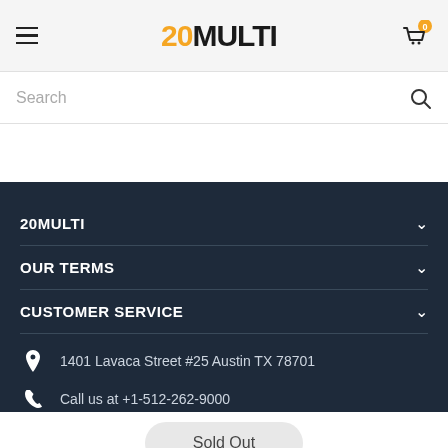20MULTI
Search
20MULTI
OUR TERMS
CUSTOMER SERVICE
1401 Lavaca Street #25 Austin TX 78701
Call us at +1-512-262-9000
Sold Out